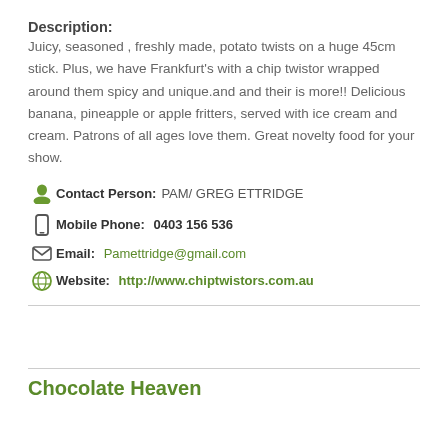Description:
Juicy, seasoned , freshly made, potato twists on a huge 45cm stick. Plus, we have Frankfurt's with a chip twistor wrapped around them spicy and unique.and and their is more!! Delicious banana, pineapple or apple fritters, served with ice cream and cream. Patrons of all ages love them. Great novelty food for your show.
Contact Person: PAM/ GREG ETTRIDGE
Mobile Phone: 0403 156 536
Email: Pamettridge@gmail.com
Website: http://www.chiptwistors.com.au
Chocolate Heaven